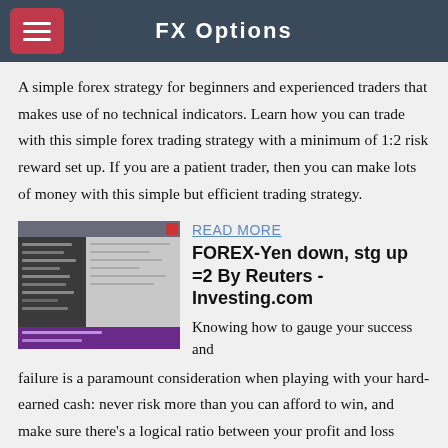FX Options
A simple forex strategy for beginners and experienced traders that makes use of no technical indicators. Learn how you can trade with this simple forex trading strategy with a minimum of 1:2 risk reward set up. If you are a patient trader, then you can make lots of money with this simple but efficient trading strategy.
[Figure (screenshot): Screenshot of a trading software interface with dark UI and purple panel at the bottom]
READ MORE
FOREX-Yen down, stg up =2 By Reuters - Investing.com
Knowing how to gauge your success and failure is a paramount consideration when playing with your hard-earned cash: never risk more than you can afford to win, and make sure there's a logical ratio between your profit and loss expectations.